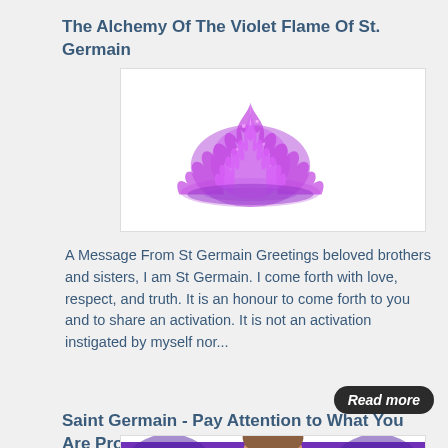The Alchemy Of The Violet Flame Of St. Germain
[Figure (illustration): Purple/violet flame illustration on white background]
A Message From St Germain Greetings beloved brothers and sisters, I am St Germain. I come forth with love, respect, and truth. It is an honour to come forth to you and to share an activation. It is not an activation instigated by myself nor...
Read more
Saint Germain - Pay Attention to What You Are Propagating
[Figure (illustration): Illustration of a man's face with purple angel wings and decorative elements, letters A and O visible]